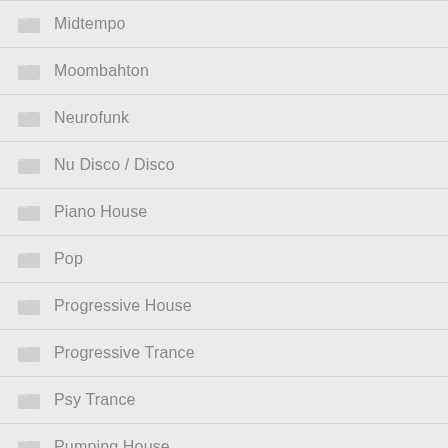Midtempo
Moombahton
Neurofunk
Nu Disco / Disco
Piano House
Pop
Progressive House
Progressive Trance
Psy Trance
Pumping House